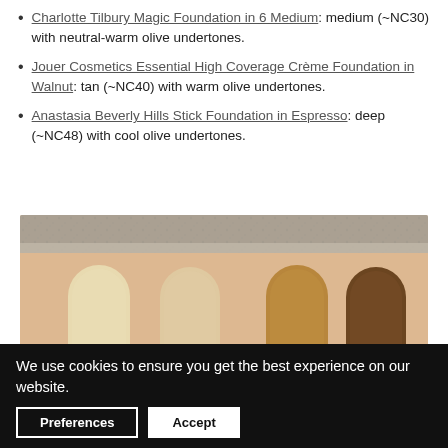Charlotte Tilbury Magic Foundation in 6 Medium: medium (~NC30) with neutral-warm olive undertones.
Jouer Cosmetics Essential High Coverage Crème Foundation in Walnut: tan (~NC40) with warm olive undertones.
Anastasia Beverly Hills Stick Foundation in Espresso: deep (~NC48) with cool olive undertones.
[Figure (photo): Photo showing four foundation swatches on a wrist/arm — from left to right: a pale gold/ivory, a light beige, a golden tan, and a deep brown shade — against a peach-toned skin background with a concrete surface at the top.]
We use cookies to ensure you get the best experience on our website.